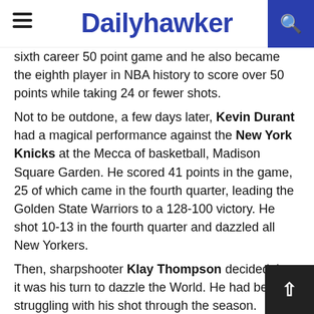Dailyhawker
sixth career 50 point game and he also became the eighth player in NBA history to score over 50 points while taking 24 or fewer shots.
Not to be outdone, a few days later, Kevin Durant had a magical performance against the New York Knicks at the Mecca of basketball, Madison Square Garden. He scored 41 points in the game, 25 of which came in the fourth quarter, leading the Golden State Warriors to a 128-100 victory. He shot 10-13 in the fourth quarter and dazzled all New Yorkers.
Then, sharpshooter Klay Thompson decided that it was his turn to dazzle the World. He had been struggling with his shot through the season. However, on a Monday night in the Windy City of Chicago, Klay Thompson unleashed a storm. He broke teammate Steph Curry's record of most 3 pointers made in a game by making 14 of them in 3